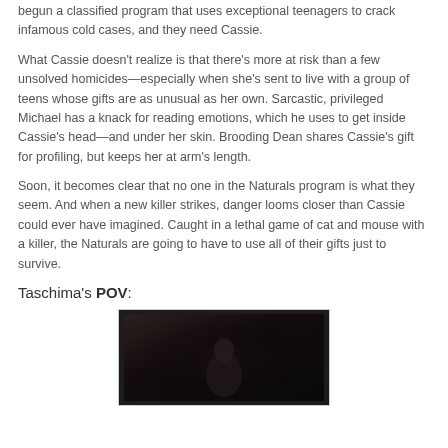begun a classified program that uses exceptional teenagers to crack infamous cold cases, and they need Cassie.
What Cassie doesn't realize is that there's more at risk than a few unsolved homicides—especially when she's sent to live with a group of teens whose gifts are as unusual as her own. Sarcastic, privileged Michael has a knack for reading emotions, which he uses to get inside Cassie's head—and under her skin. Brooding Dean shares Cassie's gift for profiling, but keeps her at arm's length.
Soon, it becomes clear that no one in the Naturals program is what they seem. And when a new killer strikes, danger looms closer than Cassie could ever have imagined. Caught in a lethal game of cat and mouse with a killer, the Naturals are going to have to use all of their gifts just to survive.
Taschima's POV:
[Figure (photo): Dark, dimly lit photo showing a figure in the foreground against a dark background]